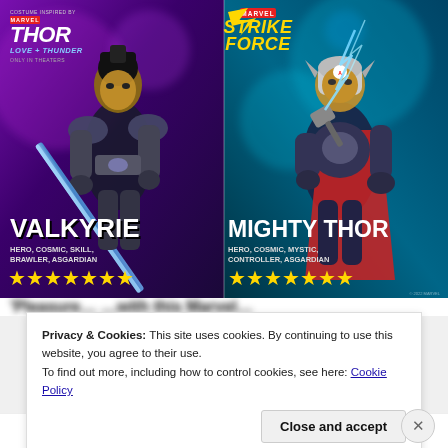[Figure (illustration): Marvel Strike Force promotional image showing Valkyrie (left) and Mighty Thor (right) characters. Valkyrie holds a sword with dark hair in braids against purple background. Mighty Thor holds a glowing hammer against teal/blue background. Top shows 'Thor Love and Thunder' logo on left and 'Marvel Strike Force' logo on right. Characters have star ratings (7 stars each) at bottom. Valkyrie tagged as: HERO, COSMIC, SKILL, BRAWLER, ASGARDIAN. Mighty Thor tagged as: HERO, COSMIC, MYSTIC, CONTROLLER, ASGARDIAN. Bottom right copyright 2022 MARVEL.]
Privacy & Cookies: This site uses cookies. By continuing to use this website, you agree to their use.
To find out more, including how to control cookies, see here: Cookie Policy
Close and accept
Follow